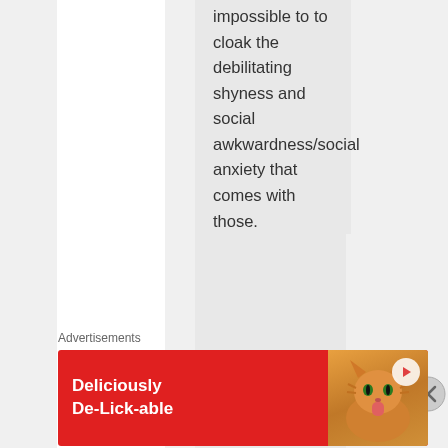impossible to to cloak the debilitating shyness and social awkwardness/social anxiety that comes with those.
★ Liked by 1 person
Advertisements
[Figure (infographic): Red advertisement banner with text 'Deliciously De-Lick-able' and an image of an orange cat licking something, with a play button in the top right corner.]